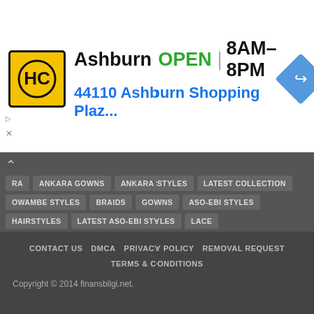[Figure (screenshot): Advertisement banner for Haircut place in Ashburn showing logo, OPEN status, hours 8AM-8PM, and address 44110 Ashburn Shopping Plaz...]
RA | ANKARA GOWNS | ANKARA STYLES
LATEST COLLECTION | OWAMBE STYLES | BRAIDS | GOWNS
ASO-EBI STYLES | HAIRSTYLES | LATEST ASO-EBI STYLES | LACE
LATEST OWAMBE STYLES | LATEST LACE STYLES | BRAIDED
LADIES | WOMEN | AFRICAN | STYLISH | GOWN | ASOEBI
KAFTAN | ELEGANT | DESIGNS | OCCASION | CHURCH
AFRICAN HAIRSTYLES
CONTACT US   DMCA   PRIVACY POLICY   REMOVAL REQUEST   TERMS & CONDITIONS
Copyright © 2014 finansbilgi.net.